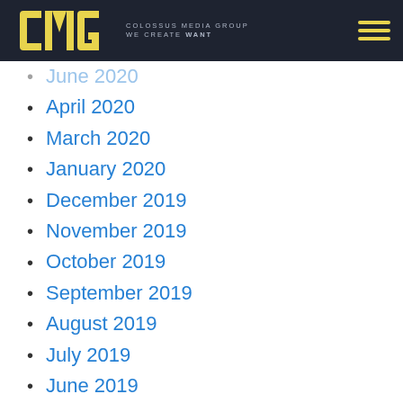CMG COLOSSUS MEDIA GROUP WE CREATE WANT
June 2020
April 2020
March 2020
January 2020
December 2019
November 2019
October 2019
September 2019
August 2019
July 2019
June 2019
May 2019
April 2019
March 2019
February 2019
January 2019
December 2018